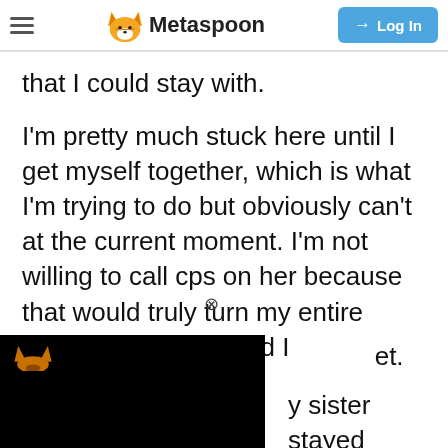Metaspoon — Log In
that I could stay with.
I'm pretty much stuck here until I get myself together, which is what I'm trying to do but obviously can't at the current moment. I'm not willing to call cps on her because that would truly turn my entire family against me and I [...]et.
[...] sister stayed home
Friday and
[Figure (screenshot): Black overlay panel with small orange Metaspoon fox logo icon on dark background, partially covering the article text.]